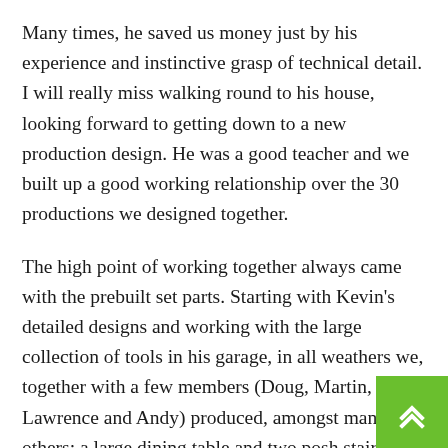Many times, he saved us money just by his experience and instinctive grasp of technical detail. I will really miss walking round to his house, looking forward to getting down to a new production design. He was a good teacher and we built up a good working relationship over the 30 productions we designed together.
The high point of working together always came with the prebuilt set parts. Starting with Kevin's detailed designs and working with the large collection of tools in his garage, in all weathers we, together with a few members (Doug, Martin, Lawrence and Andy) produced, amongst many others; a large dining table and two posh staircases (Rebecca); two-story sets (Ladykillers and Jacobs Crackers); a